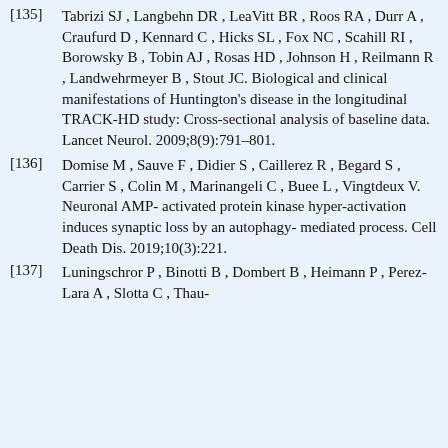[135] Tabrizi SJ , Langbehn DR , LeaVitt BR , Roos RA , Durr A , Craufurd D , Kennard C , Hicks SL , Fox NC , Scahill RI , Borowsky B , Tobin AJ , Rosas HD , Johnson H , Reilmann R , Landwehrmeyer B , Stout JC. Biological and clinical manifestations of Huntington's disease in the longitudinal TRACK-HD study: Cross-sectional analysis of baseline data. Lancet Neurol. 2009;8(9):791–801.
[136] Domise M , Sauve F , Didier S , Caillerez R , Begard S , Carrier S , Colin M , Marinangeli C , Buee L , Vingtdeux V. Neuronal AMP-activated protein kinase hyper-activation induces synaptic loss by an autophagy-mediated process. Cell Death Dis. 2019;10(3):221.
[137] Luningschror P , Binotti B , Dombert B , Heimann P , Perez-Lara A , Slotta C , Thau-